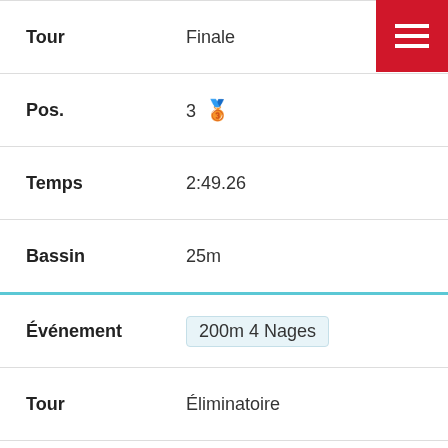Tour: Finale
Pos.: 3 🥉
Temps: 2:49.26
Bassin: 25m
Événement: 200m 4 Nages
Tour: Éliminatoire
Pos.: 3
Temps: 2:53.09
Bassin: 25m